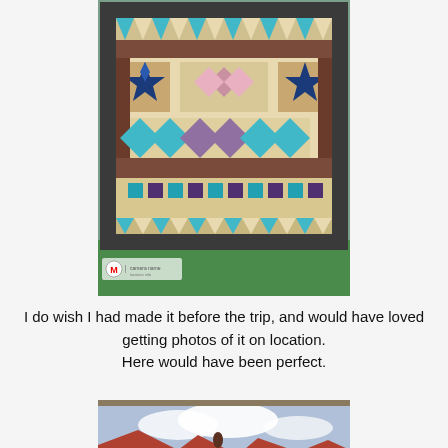[Figure (photo): A colorful patchwork quilt photographed outdoors, featuring geometric patterns with teal, purple, brown, and beige fabrics, displayed hanging or laid out on green grass. A Motorola logo watermark is visible in the bottom left corner.]
I do wish I had made it before the trip, and would have loved getting photos of it on location.
Here would have been perfect.
[Figure (photo): A landscape photo partially visible showing what appears to be red rock formations (like canyon country) under a cloudy blue sky, with a person or figure visible.]